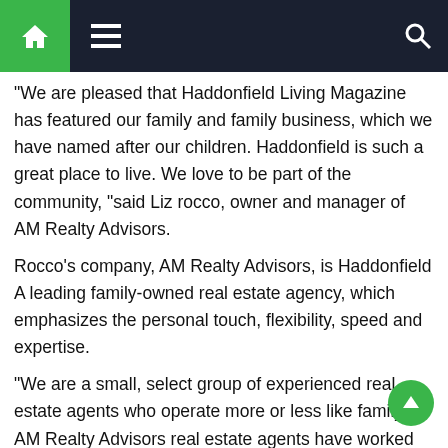[Navigation bar with home, menu, and search icons]
“We are pleased that Haddonfield Living Magazine has featured our family and family business, which we have named after our children. Haddonfield is such a great place to live. We love to be part of the community, “said Liz rocco, owner and manager of AM Realty Advisors.
Rocco’s company, AM Realty Advisors, is Haddonfield A leading family-owned real estate agency, which emphasizes the personal touch, flexibility, speed and expertise.
“We are a small, select group of experienced real estate agents who operate more or less like family. AM Realty Advisors real estate agents have worked on real estate transactions from all angles: as real estate agents, lawyers, securities firms, lenders and appraisers. Because of this, we are able to offer our customers an unmatched level of value”, states Joseph rocco who is the appointed broker of AM